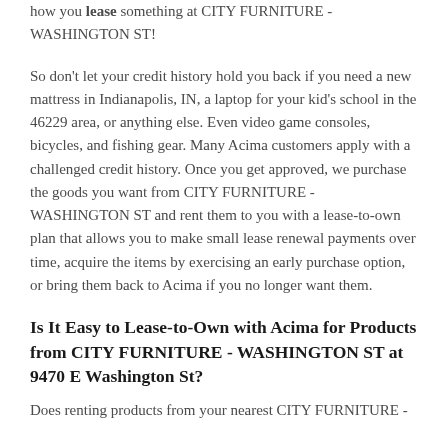...CITY FURNITURE - WASHINGTON ST! That's how you lease something at CITY FURNITURE - WASHINGTON ST!
So don't let your credit history hold you back if you need a new mattress in Indianapolis, IN, a laptop for your kid's school in the 46229 area, or anything else. Even video game consoles, bicycles, and fishing gear. Many Acima customers apply with a challenged credit history. Once you get approved, we purchase the goods you want from CITY FURNITURE - WASHINGTON ST and rent them to you with a lease-to-own plan that allows you to make small lease renewal payments over time, acquire the items by exercising an early purchase option, or bring them back to Acima if you no longer want them.
Is It Easy to Lease-to-Own with Acima for Products from CITY FURNITURE - WASHINGTON ST at 9470 E Washington St?
Does renting products from your nearest CITY FURNITURE -